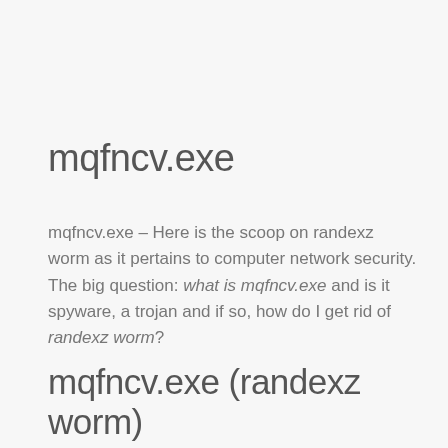mqfncv.exe
mqfncv.exe – Here is the scoop on randexz worm as it pertains to computer network security. The big question: what is mqfncv.exe and is it spyware, a trojan and if so, how do I get rid of randexz worm?
mqfncv.exe (randexz worm) – Details